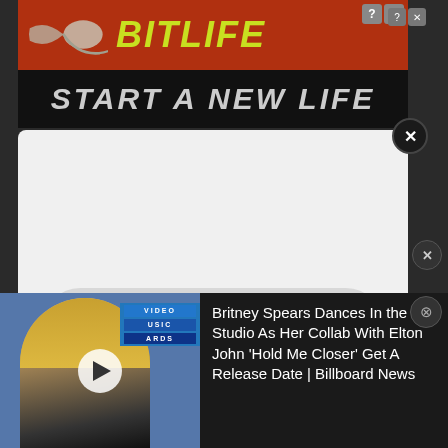[Figure (screenshot): BitLife advertisement banner: red background with sperm graphic and yellow italic 'BitLiFE' logo, dark bottom strip with 'START A NEW LIFE' text, close buttons in top right]
[Figure (screenshot): Apple Music player widget showing play button, track title 'Play "Come Dance Wi..."', subtitle 'on Apple Music', and volume icon]
Play "Come Dance Wi..." on Apple Music
[Figure (screenshot): News strip at bottom: thumbnail of Britney Spears at MTV Video Music Awards with play button overlay, beside news headline text]
Britney Spears Dances In the Studio As Her Collab With Elton John 'Hold Me Closer' Get A Release Date | Billboard News